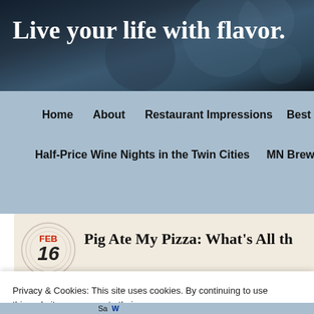[Figure (photo): Website header banner with dark blue blurred background showing restaurant/dining atmosphere]
Live your life with flavor.
Home | About | Restaurant Impressions | Best of the Tw... | Half-Price Wine Nights in the Twin Cities | MN Breweries
Pig Ate My Pizza: What's All th
Privacy & Cookies: This site uses cookies. By continuing to use this website, you agree to their use.
To find out more, including how to control cookies, see here: Cookie Policy
Close and accept